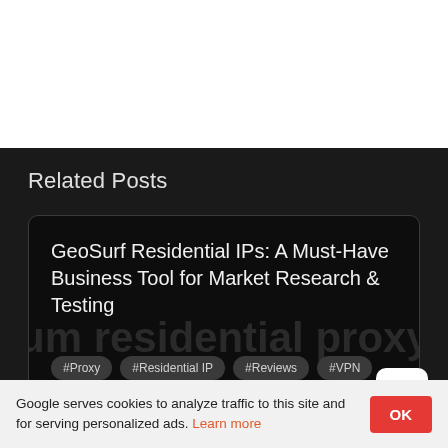[Figure (screenshot): White area at top of page, partial screenshot of a webpage]
Related Posts
GeoSurf Residential IPs: A Must-Have Business Tool for Market Research & Testing
#Proxy  #Residential IP  #Reviews  #VPN
TechieDip · August 22, 2020 · 9 min read
Google serves cookies to analyze traffic to this site and for serving personalized ads. Learn more